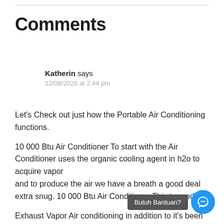Comments
Katherin says
12/09/2020 at 2:44 pm
Let's Check out just how the Portable Air Conditioning functions.
10 000 Btu Air Conditioner To start with the Air Conditioner uses the organic cooling agent in h2o to acquire vapor and to produce the air we have a breath a good deal extra snug. 10 000 Btu Air Conditioner This termed
Exhaust Vapor Air conditioning in addition to it's been